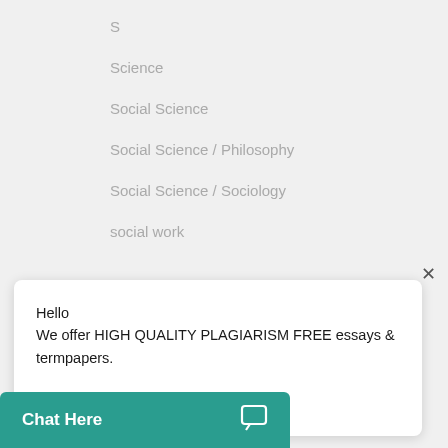S
Science
Social Science
Social Science / Philosophy
Social Science / Sociology
social work
Hello
We offer HIGH QUALITY PLAGIARISM FREE essays & termpapers.

Chat...
statistics
Chat Here